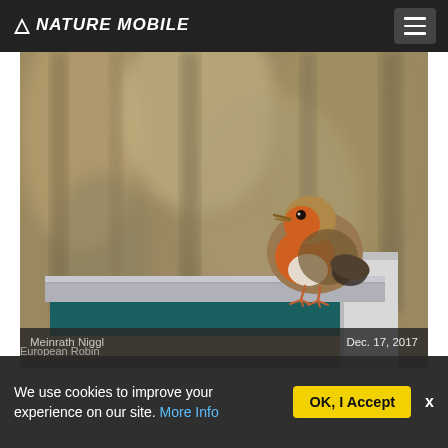NATURE MOBILE
[Figure (photo): A European Robin (Erithacus rubecula) perched on the edge of a white surface, with a blurred green-brown natural background. The bird has a distinctive orange-red breast and brown upperparts.]
Meinrath Niggl — Dec. 17, 2017
European Robin
We use cookies to improve your experience on our site. More Info